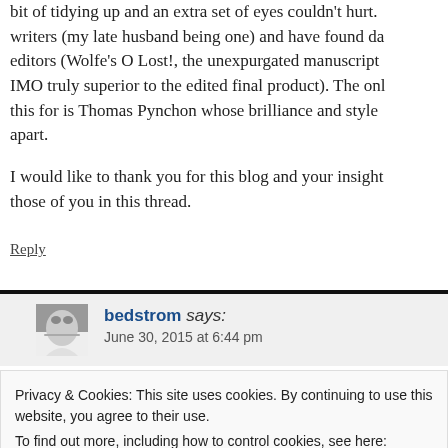bit of tidying up and an extra set of eyes couldn't hurt. I know writers (my late husband being one) and have found da... editors (Wolfe's O Lost!, the unexpurgated manuscript IMO truly superior to the edited final product). The onl this for is Thomas Pynchon whose brilliance and style ... apart.
I would like to thank you for this blog and your insight... those of you in this thread.
Reply
bedstrom says:
June 30, 2015 at 6:44 pm
Privacy & Cookies: This site uses cookies. By continuing to use this website, you agree to their use.
To find out more, including how to control cookies, see here: Cookie Policy
Close and accept